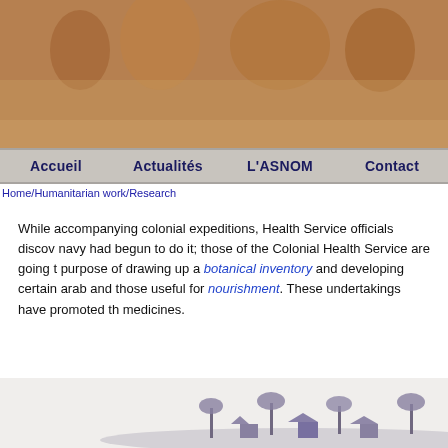[Figure (photo): Header banner image with colonial/tropical artwork depicting people in warm earthy tones]
Accueil   Actualités   L'ASNOM   Contact
Home/Humanitarian work/Research
While accompanying colonial expeditions, Health Service officials discover navy had begun to do it; those of the Colonial Health Service are going to purpose of drawing up a botanical inventory and developing certain arab and those useful for nourishment. These undertakings have promoted the medicines.
[Figure (illustration): Decorative bottom illustration showing a silhouette landscape with palm trees and small huts/buildings in a muted blue-grey color scheme]